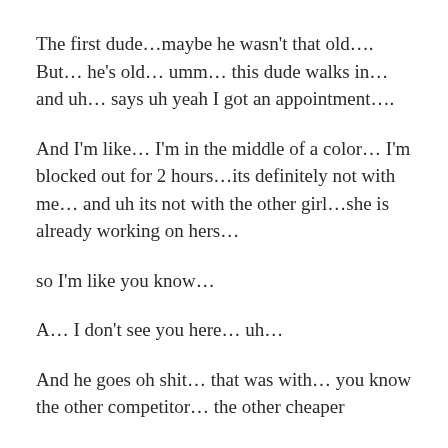The first dude…maybe he wasn't that old…. But… he's old… umm… this dude walks in…and uh… says uh yeah I got an appointment….
And I'm like… I'm in the middle of a color… I'm blocked out for 2 hours…its definitely not with me… and uh its not with the other girl…she is already working on hers…
so I'm like you know…
A… I don't see you here… uh…
And he goes oh shit… that was with… you know the other competitor… the other cheaper